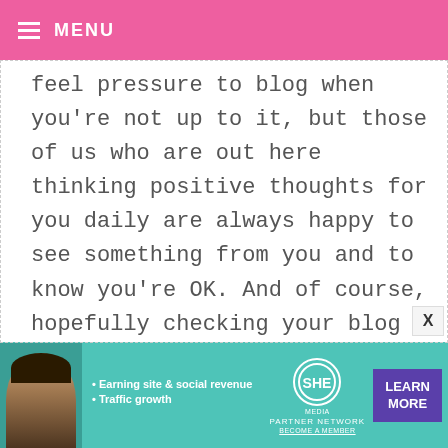MENU
feel pressure to blog when you’re not up to it, but those of us who are out here thinking positive thoughts for you daily are always happy to see something from you and to know you’re OK. And of course, hopefully checking your blog gives you a little boost just seeing how much we all love you and all you do to make all of our lives a little cheerier…and cuter!
[Figure (advertisement): SHE Partner Network advertisement banner with teal background, female photo, bullet points about earning site and social revenue and traffic growth, SHE Media logo, and Learn More button]